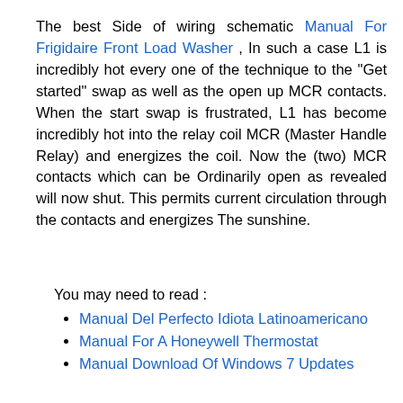The best Side of wiring schematic Manual For Frigidaire Front Load Washer , In such a case L1 is incredibly hot every one of the technique to the "Get started" swap as well as the open up MCR contacts. When the start swap is frustrated, L1 has become incredibly hot into the relay coil MCR (Master Handle Relay) and energizes the coil. Now the (two) MCR contacts which can be Ordinarily open as revealed will now shut. This permits current circulation through the contacts and energizes The sunshine.
You may need to read :
Manual Del Perfecto Idiota Latinoamericano
Manual For A Honeywell Thermostat
Manual Download Of Windows 7 Updates